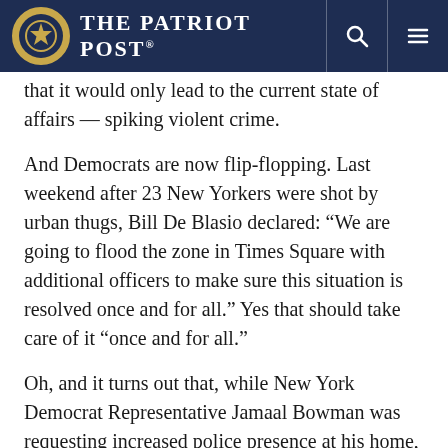The Patriot Post
that it would only lead to the current state of affairs — spiking violent crime.
And Democrats are now flip-flopping. Last weekend after 23 New Yorkers were shot by urban thugs, Bill De Blasio declared: “We are going to flood the zone in Times Square with additional officers to make sure this situation is resolved once and for all.” Yes that should take care of it “once and for all.”
Oh, and it turns out that, while New York Democrat Representative Jamaal Bowman was requesting increased police presence at his home, he was simultaneously advocating for defunding the police. In a video event with Congresswoman Alexandria Ocasio-Cortez (D-NY), he said, “I haven’t thought